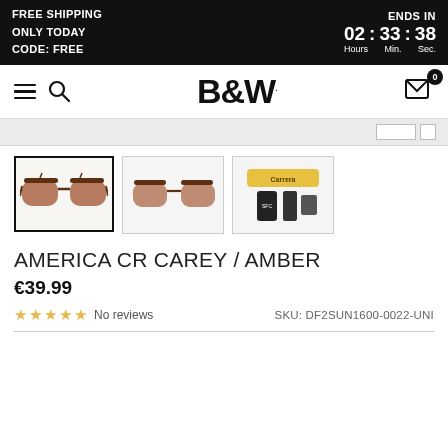FREE SHIPPING
ONLY TODAY
CODE: FREE
ENDS IN 02 : 33 : 38 Hours Min. Sec.
[Figure (screenshot): B&W brand navigation bar with hamburger menu, search icon, B&W logo, and cart icon with badge 0]
[Figure (photo): Three product thumbnail images: first (active/selected) shows brown aviator sunglasses on white background; second shows same sunglasses at slight angle; third shows product accessories including yellow case, black pouch, and cleaning cloth]
AMERICA CR CAREY / AMBER
€39.99
★★★★★ No reviews   SKU: DF2SUN1600-0022-UNI